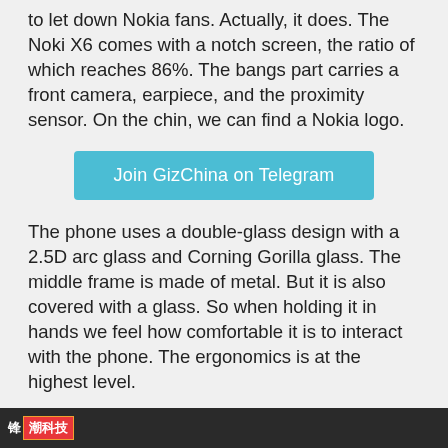to let down Nokia fans. Actually, it does. The Noki X6 comes with a notch screen, the ratio of which reaches 86%. The bangs part carries a front camera, earpiece, and the proximity sensor. On the chin, we can find a Nokia logo.
[Figure (other): Blue button labeled 'Join GizChina on Telegram']
The phone uses a double-glass design with a 2.5D arc glass and Corning Gorilla glass. The middle frame is made of metal. But it is also covered with a glass. So when holding it in hands we feel how comfortable it is to interact with the phone. The ergonomics is at the highest level.
锋潮科技